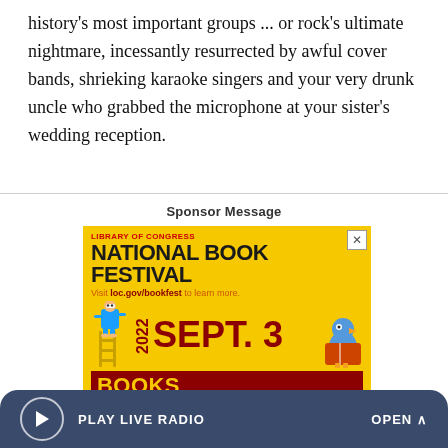history's most important groups ... or rock's ultimate nightmare, incessantly resurrected by awful cover bands, shrieking karaoke singers and your very drunk uncle who grabbed the microphone at your sister's wedding reception.
Sponsor Message
[Figure (advertisement): Library of Congress National Book Festival advertisement. Yellow background with red and dark text. Text reads: LIBRARY OF CONGRESS, NATIONAL BOOK FESTIVAL, Visit loc.gov/bookfest to learn more. 2022 SEPT. 3. BOOKS BRING US. Features illustrated mascot characters.]
PLAY LIVE RADIO
OPEN